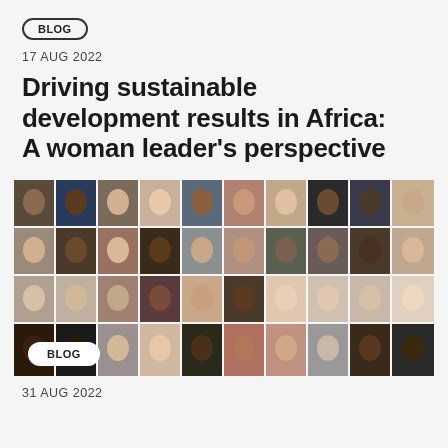BLOG
17 AUG 2022
Driving sustainable development results in Africa: A woman leader’s perspective
[Figure (photo): Grid collage of diverse people portrait headshots arranged in rows and columns, approximately 40 individuals of various ethnicities and genders against various backgrounds. A BLOG badge label is overlaid in the lower left corner.]
31 AUG 2022